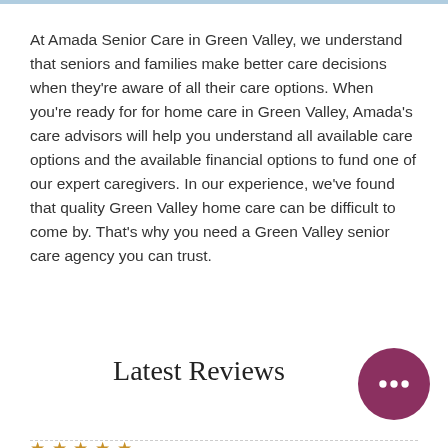At Amada Senior Care in Green Valley, we understand that seniors and families make better care decisions when they're aware of all their care options. When you're ready for for home care in Green Valley, Amada's care advisors will help you understand all available care options and the available financial options to fund one of our expert caregivers. In our experience, we've found that quality Green Valley home care can be difficult to come by. That's why you need a Green Valley senior care agency you can trust.
Latest Reviews